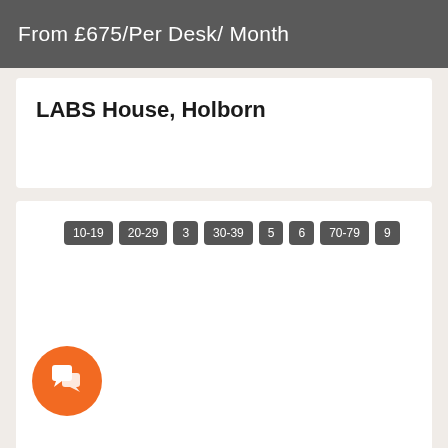From £675/Per Desk/ Month
LABS House, Holborn
10-19
20-29
3
30-39
5
6
70-79
9